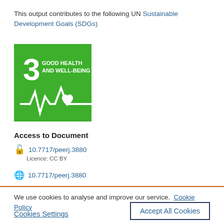This output contributes to the following UN Sustainable Development Goals (SDGs)
[Figure (illustration): SDG Goal 3 badge: green square with the number 3 and text 'GOOD HEALTH AND WELL-BEING' along with a heartbeat/pulse line and heart icon in white.]
Access to Document
10.7717/peerj.3880
Licence: CC BY
10.7717/peerj.3880
We use cookies to analyse and improve our service. Cookie Policy
Cookies Settings
Accept All Cookies